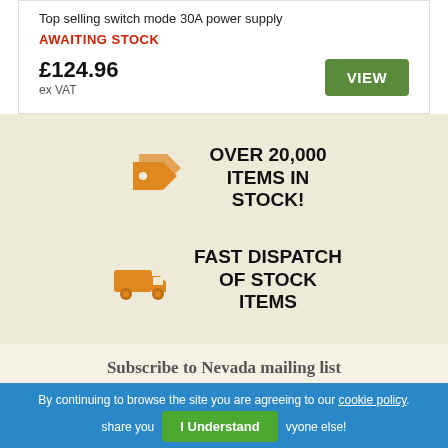Top selling switch mode 30A power supply
AWAITING STOCK
£124.96 ex VAT
[Figure (infographic): Orange price tag icon with two overlapping arrow-shaped tags pointing right]
OVER 20,000 ITEMS IN STOCK!
[Figure (infographic): Orange delivery truck icon facing right]
FAST DISPATCH OF STOCK ITEMS
Subscribe to Nevada mailing list
Want exclusive deals & offers? Don't worry – we won't share your details with anyone else!
By continuing to browse the site you are agreeing to our cookie policy.
I Understand